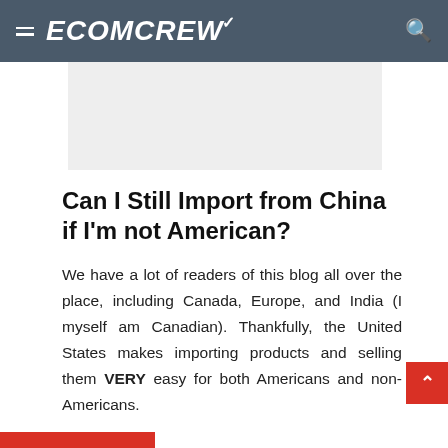ECOMCREW
[Figure (other): Advertisement placeholder box, light gray background]
Can I Still Import from China if I'm not American?
We have a lot of readers of this blog all over the place, including Canada, Europe, and India (I myself am Canadian). Thankfully, the United States makes importing products and selling them VERY easy for both Americans and non-Americans.